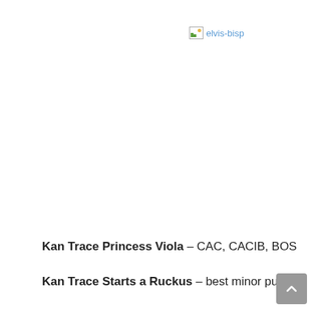[Figure (other): Broken image placeholder labeled 'elvis-bisp']
Kan Trace Princess Viola – CAC, CACIB, BOS
Kan Trace Starts a Ruckus – best minor puppy